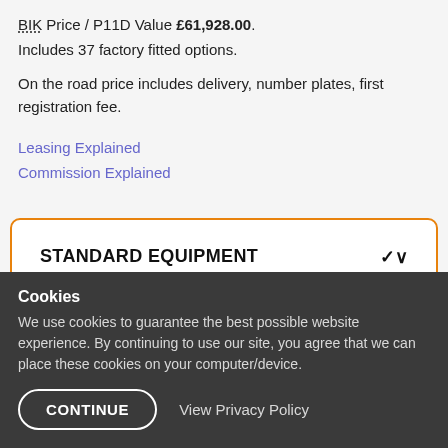BIK Price / P11D Value £61,928.00. Includes 37 factory fitted options.
On the road price includes delivery, number plates, first registration fee.
Leasing Explained
Commission Explained
STANDARD EQUIPMENT
Cookies
We use cookies to guarantee the best possible website experience. By continuing to use our site, you agree that we can place these cookies on your computer/device.
CONTINUE   View Privacy Policy